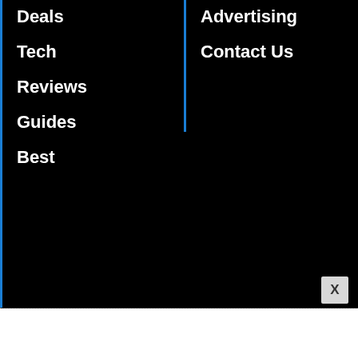Deals
Tech
Reviews
Guides
Best
Advertising
Contact Us
[Figure (logo): The Hollywood Reporter logo in white italic script on black background]
[Figure (logo): Variety logo in white serif italic font on black background]
[Figure (logo): Rolling Stone logo (partially visible, showing 'Rol') in white on black background]
[Figure (logo): PMC (Penske Media Corporation) logo in white block letters on black background]